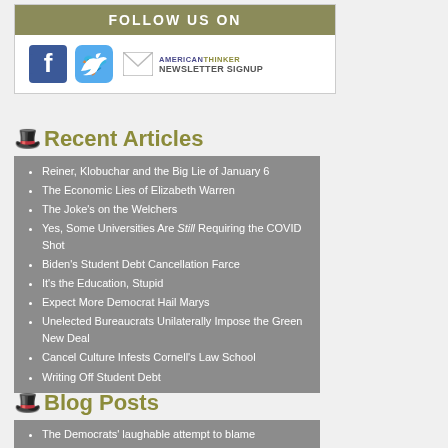[Figure (infographic): Follow Us On social media banner with Facebook icon, Twitter icon, and American Thinker Newsletter Signup link with envelope icon]
Recent Articles
Reiner, Klobuchar and the Big Lie of January 6
The Economic Lies of Elizabeth Warren
The Joke's on the Welchers
Yes, Some Universities Are Still Requiring the COVID Shot
Biden's Student Debt Cancellation Farce
It's the Education, Stupid
Expect More Democrat Hail Marys
Unelected Bureaucrats Unilaterally Impose the Green New Deal
Cancel Culture Infests Cornell's Law School
Writing Off Student Debt
Blog Posts
The Democrats' laughable attempt to blame